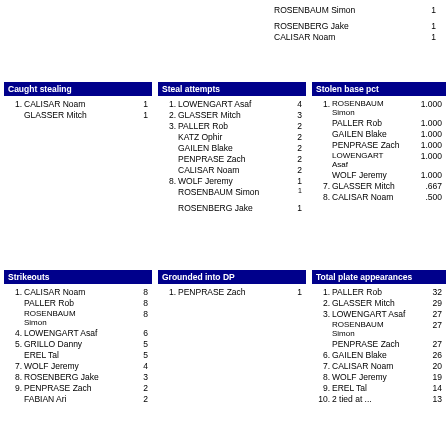| Rank | Name | Value |
| --- | --- | --- |
|  | ROSENBAUM Simon | 1 |
|  | ROSENBERG Jake | 1 |
|  | CALISAR Noam | 1 |
| Caught stealing |  |
| --- | --- |
| 1. | CALISAR Noam | 1 |
|  | GLASSER Mitch | 1 |
| Steal attempts |  |
| --- | --- |
| 1. | LOWENGART Asaf | 4 |
| 2. | GLASSER Mitch | 3 |
| 3. | PALLER Rob | 2 |
|  | KATZ Ophir | 2 |
|  | GAILEN Blake | 2 |
|  | PENPRASE Zach | 2 |
|  | CALISAR Noam | 2 |
| 8. | WOLF Jeremy | 1 |
|  | ROSENBAUM Simon | 1 |
|  | ROSENBERG Jake | 1 |
| Stolen base pct |  |
| --- | --- |
| 1. | ROSENBAUM Simon | 1.000 |
|  | PALLER Rob | 1.000 |
|  | GAILEN Blake | 1.000 |
|  | PENPRASE Zach | 1.000 |
|  | LOWENGART Asaf | 1.000 |
|  | WOLF Jeremy | 1.000 |
| 7. | GLASSER Mitch | .667 |
| 8. | CALISAR Noam | .500 |
| Strikeouts |  |
| --- | --- |
| 1. | CALISAR Noam | 8 |
|  | PALLER Rob | 8 |
|  | ROSENBAUM Simon | 8 |
| 4. | LOWENGART Asaf | 6 |
| 5. | GRILLO Danny | 5 |
|  | EREL Tal | 5 |
| 7. | WOLF Jeremy | 4 |
| 8. | ROSENBERG Jake | 3 |
| 9. | PENPRASE Zach | 2 |
|  | FABIAN Ari | 2 |
| Grounded into DP |  |
| --- | --- |
| 1. | PENPRASE Zach | 1 |
| Total plate appearances |  |
| --- | --- |
| 1. | PALLER Rob | 32 |
| 2. | GLASSER Mitch | 29 |
| 3. | LOWENGART Asaf | 27 |
|  | ROSENBAUM Simon | 27 |
|  | PENPRASE Zach | 27 |
| 6. | GAILEN Blake | 26 |
| 7. | CALISAR Noam | 20 |
| 8. | WOLF Jeremy | 19 |
| 9. | EREL Tal | 14 |
| 10. | 2 tied at ... | 13 |